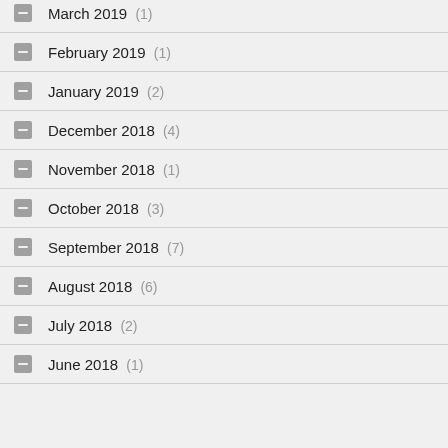March 2019 (1)
February 2019 (1)
January 2019 (2)
December 2018 (4)
November 2018 (1)
October 2018 (3)
September 2018 (7)
August 2018 (6)
July 2018 (2)
June 2018 (1)